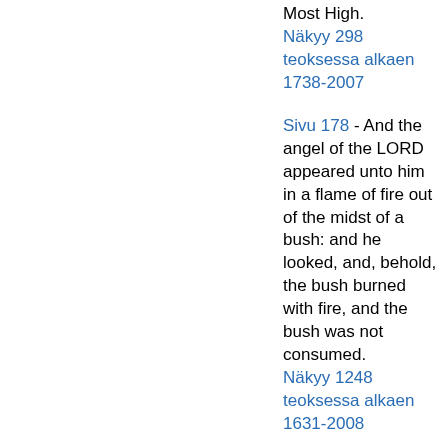Most High. Näkyy 298 teoksessa alkaen 1738-2007
Sivu 178 - And the angel of the LORD appeared unto him in a flame of fire out of the midst of a bush: and he looked, and, behold, the bush burned with fire, and the bush was not consumed. Näkyy 1248 teoksessa alkaen 1631-2008
Sivu 24 - God is our refuge and strength, A very present help in trouble. Therefore will we not fear, though the earth be removed, And though the mountains be carried into the midst of the sea;